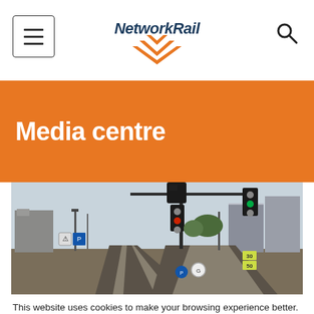NetworkRail — Media centre
Media centre
[Figure (photo): Railway tracks with signals, gantries, and urban buildings in background]
This website uses cookies to make your browsing experience better.